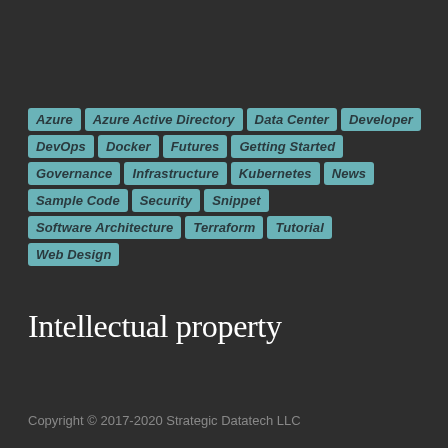Azure
Azure Active Directory
Data Center
Developer
DevOps
Docker
Futures
Getting Started
Governance
Infrastructure
Kubernetes
News
Sample Code
Security
Snippet
Software Architecture
Terraform
Tutorial
Web Design
Intellectual property
Copyright © 2017-2020 Strategic Datatech LLC